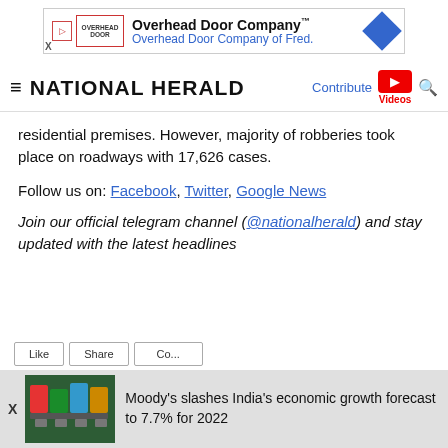[Figure (other): Advertisement banner for Overhead Door Company with logo, play button, blue diamond icon]
≡ NATIONAL HERALD   Contribute  Videos  🔍
residential premises. However, majority of robberies took place on roadways with 17,626 cases.
Follow us on: Facebook, Twitter, Google News
Join our official telegram channel (@nationalherald) and stay updated with the latest headlines
[Figure (other): Notification bar showing news: Moody's slashes India's economic growth forecast to 7.7% for 2022 with a shipping container image]